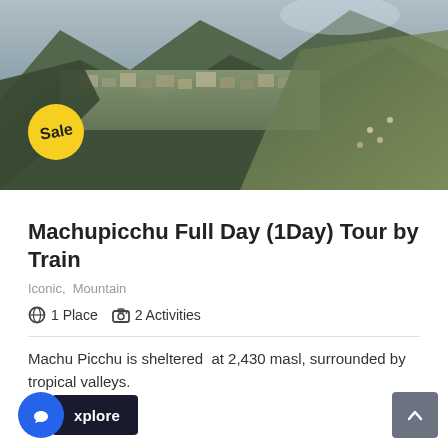[Figure (photo): Aerial view of Machu Picchu ruins on a mountainside with a 'Sale' badge in the lower left corner]
Machupicchu Full Day (1Day) Tour by Train
Iconic,  Mountain
1 Place  2 Activities
Machu Picchu is sheltered  at 2,430 masl, surrounded by tropical valleys.
xplore